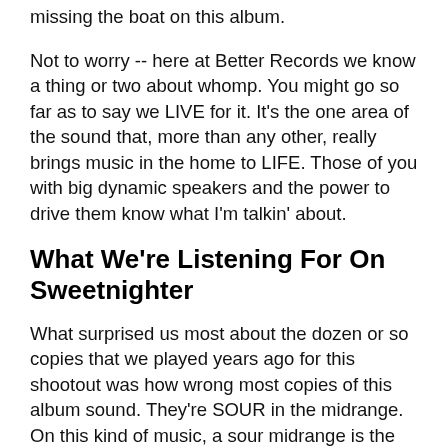missing the boat on this album.
Not to worry -- here at Better Records we know a thing or two about whomp. You might go so far as to say we LIVE for it. It's the one area of the sound that, more than any other, really brings music in the home to LIFE. Those of you with big dynamic speakers and the power to drive them know what I'm talkin' about.
What We're Listening For On Sweetnighter
What surprised us most about the dozen or so copies that we played years ago for this shootout was how wrong most copies of this album sound. They're SOUR in the midrange. On this kind of music, a sour midrange is the kiss of death. Those copies that aren't sour are frequently just plain dull. On a recording like this, so full of percussion -- which, to be honest, LIVES OR DIES